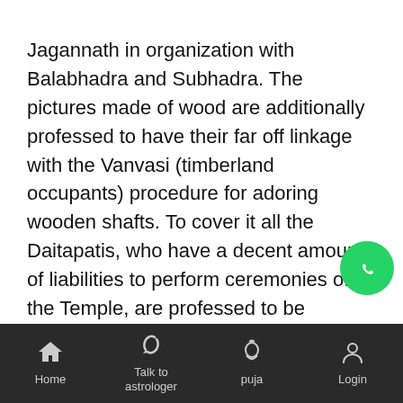Jagannath in organization with Balabhadra and Subhadra. The pictures made of wood are additionally professed to have their far off linkage with the Vanvasi (timberland occupants) procedure for adoring wooden shafts. To cover it all the Daitapatis, who have a decent amount of liabilities to perform ceremonies of the Temple, are professed to be relatives of the slope clans of Odisha. So we may securely guarantee that the start of the social history of Shrikshetra is found in the way of life Hindu clans. The three gods came to be guaranteed as the images of Samyak Darshan, Samyak Jnana and Samyak Charita typically viewed as Triratha (of
[Figure (logo): WhatsApp floating action button (green circle with white phone icon)]
Home | Talk to astrologer | puja | Login